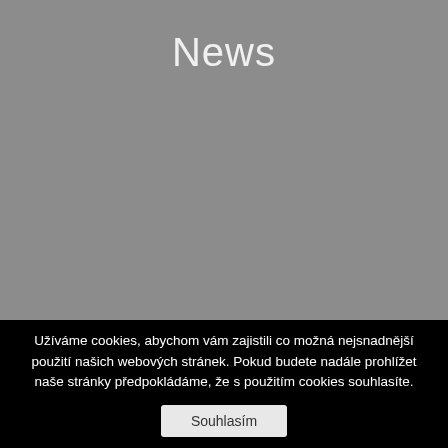News
Užíváme cookies, abychom vám zajistili co možná nejsnadnější použití našich webových stránek. Pokud budete nadále prohlížet naše stránky předpokládáme, že s použitím cookies souhlasíte.
Souhlasím